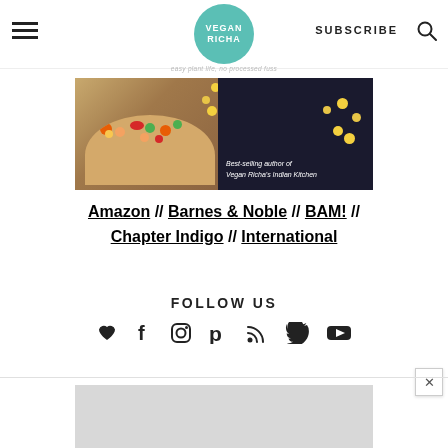VEGAN RICHA | SUBSCRIBE
[Figure (photo): Book cover image showing a taco with vegetables and chickpeas on a dark background with text 'Best-selling author of Vegan Richa's Indian Kitchen']
Amazon // Barnes & Noble // BAM! // Chapter Indigo // International
FOLLOW US
[Figure (infographic): Row of social media icons: heart, facebook, instagram, pinterest, rss, twitter, youtube]
[Figure (photo): Bottom advertisement image placeholder (gray)]